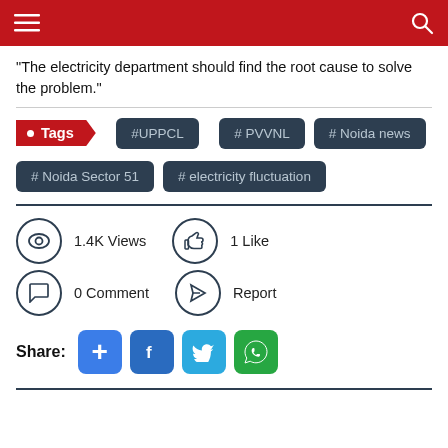Navigation header with menu and search icons
"The electricity department should find the root cause to solve the problem."
• Tags
#UPPCL
# PVVNL
# Noida news
# Noida Sector 51
# electricity fluctuation
1.4K Views  1 Like  0 Comment  Report
Share: